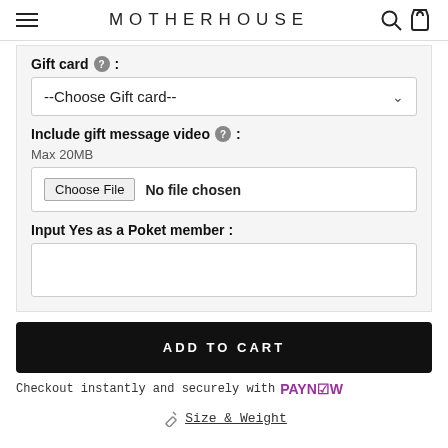MOTHERHOUSE
Gift card :
--Choose Gift card--
Include gift message video : Max 20MB
Choose File  No file chosen
Input Yes as a Poket member :
ADD TO CART
Checkout instantly and securely with PAYNOW
Size & Weight